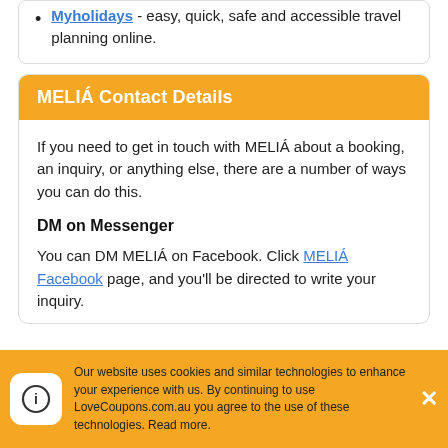Myholidays - easy, quick, safe and accessible travel planning online.
MELIÁ Contact Details
If you need to get in touch with MELIÁ about a booking, an inquiry, or anything else, there are a number of ways you can do this.
DM on Messenger
You can DM MELIÁ on Facebook. Click MELIÁ Facebook page, and you'll be directed to write your inquiry.
Our website uses cookies and similar technologies to enhance your experience with us. By continuing to use LoveCoupons.com.au you agree to the use of these technologies. Read more.